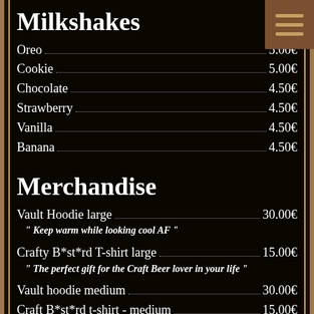Milkshakes
Oreo 5.00€
Cookie 5.00€
Chocolate 4.50€
Strawberry 4.50€
Vanilla 4.50€
Banana 4.50€
Merchandise
Vault Hoodie large 30.00€
" Keep warm while looking cool AF "
Crafty B*st*rd T-shirt large 15.00€
" The perfect gift for the Craft Beer lover in your life "
Vault hoodie medium 30.00€
Craft B*st*rd t-shirt - medium 15.00€
Vault hoodie XL 30.00€